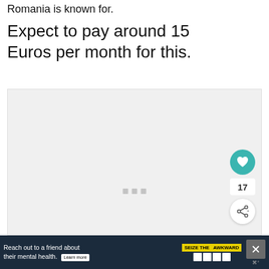Romania is known for.
Expect to pay around 15 Euros per month for this.
[Figure (other): Light gray image placeholder box with three small gray square dots near the bottom center, and a teal heart/like button on the right side, a count of 17, and a share button below.]
[Figure (infographic): Dark navy advertisement bar at the bottom: 'Reach out to a friend about their mental health. Learn more' with SEIZE THE AWKWARD badge, logos, and a close X button.]